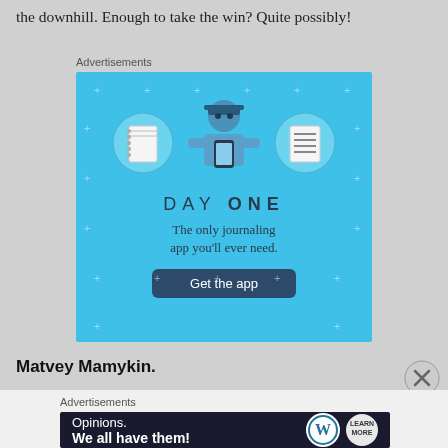the downhill. Enough to take the win? Quite possibly!
Advertisements
[Figure (illustration): Day One journaling app advertisement. Blue background with illustrated person holding phone, flanked by notebook and checklist icons. Text: DAY ONE – The only journaling app you'll ever need. Button: Get the app]
Matvey Mamykin.
Advertisements
[Figure (illustration): WordPress advertisement on dark navy background. Text: 'Opinions. We all have them!' with WordPress and another logo on the right.]